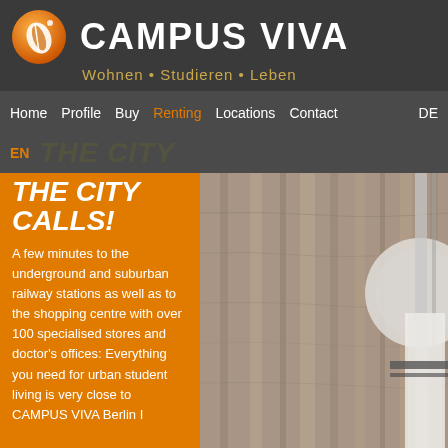[Figure (logo): Campus Viva logo: orange circle with white leaf/feather icon and brand name CAMPUS VIVA in white bold uppercase, tagline 'Wohnen • Studieren • Leben' in gold]
Home  Profile  Buy  Renting  Locations  Contact  DE
EN
THE CITY CALLS!
A few minutes to the underground and suburban railway stations as well as to the shopping centre with over 100 specialised stores and doctor's offices: Everything you need for urban student living is very close to CAMPUS VIVA Berlin I